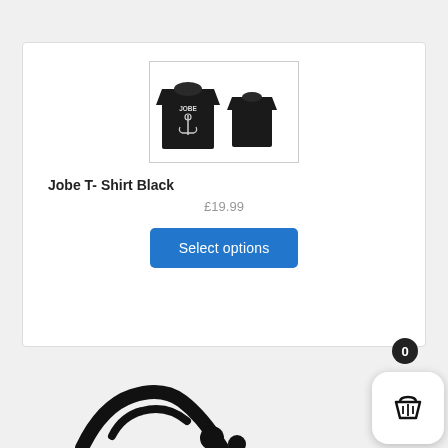[Figure (photo): Product card showing Jobe T-Shirt Black - front and back view of a black t-shirt with anchor/JOBE graphic]
Jobe T- Shirt Black
£19.99
Select options
[Figure (photo): Partial view of another product at the bottom of the page]
[Figure (other): Shopping cart icon button with badge showing 0 items]